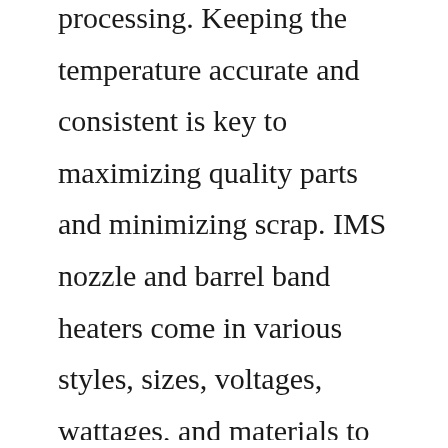processing. Keeping the temperature accurate and consistent is key to maximizing quality parts and minimizing scrap. IMS nozzle and barrel band heaters come in various styles, sizes, voltages, wattages, and materials to fit the needs of the ever changing plastics molding industry. Stihl 017 , 018 ChainSaws Service Repair Manual. Stihl 021 , 023 , 025 ChainSaws Service Repair Manual. Stihl 024 , 026 ChainSaws Service Repair Manual. Stihl